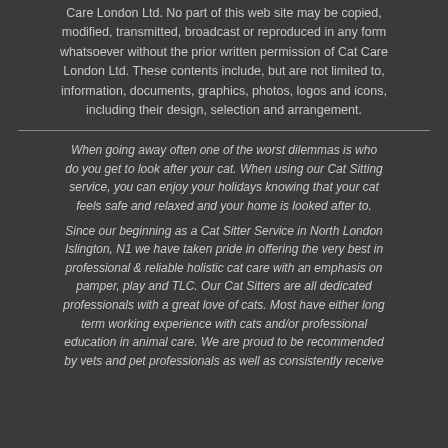Care London Ltd. No part of this web site may be copied, modified, transmitted, broadcast or reproduced in any form whatsoever without the prior written permission of Cat Care London Ltd. These contents include, but are not limited to, information, documents, graphics, photos, logos and icons, including their design, selection and arrangement.
When going away often one of the worst dilemmas is who do you get to look after your cat. When using our Cat Sitting service, you can enjoy your holidays knowing that your cat feels safe and relaxed and your home is looked after to.
Since our beginning as a Cat Sitter Service in North London Islington, N1 we have taken pride in offering the very best in professional & reliable holistic cat care with an emphasis on pamper, play and TLC. Our Cat Sitters are all dedicated professionals with a great love of cats. Most have either long term working experience with cats and/or professional education in animal care. We are proud to be recommended by vets and pet professionals as well as consistently receive